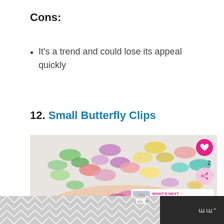Cons:
It's a trend and could lose its appeal quickly
12. Small Butterfly Clips
[Figure (photo): Photo of colorful small butterfly hair clips held in a hand against a light background, with social interaction buttons (heart, share) and a 'What's Next' preview overlay showing '11 Best Ponytail...']
Advertisement banner at bottom with chevron pattern and logo